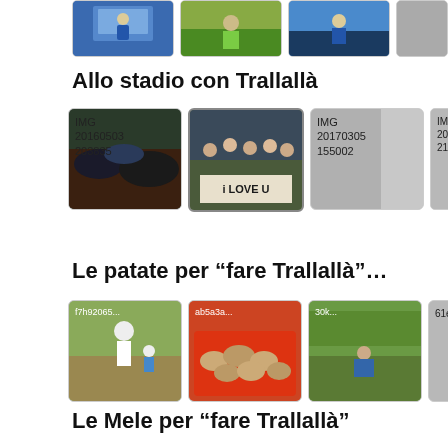[Figure (photo): Row of thumbnail photos at top of page, partially visible]
Allo stadio con Trallallà
[Figure (photo): Four photo thumbnails from stadium gallery: IMG 20160503 203835, photo with 'I LOVE U' sign, IMG 20170305 155002, IMG 20... 21...]
Le patate per “fare Trallallà”...
[Figure (photo): Four photo thumbnails of potato harvest: f7h92065..., ab5a3a..., 30k..., 61e...]
Le Mele per “fare Trallallà”